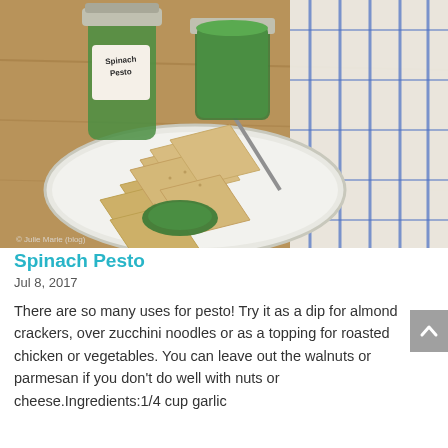[Figure (photo): Photo of two jars of spinach pesto and a plate of almond crackers with green pesto on a spoon, placed on a wooden surface with a blue-striped white cloth in the background. One jar is labeled 'Spinach Pesto'.]
Spinach Pesto
Jul 8, 2017
There are so many uses for pesto! Try it as a dip for almond crackers, over zucchini noodles or as a topping for roasted chicken or vegetables. You can leave out the walnuts or parmesan if you don't do well with nuts or cheese.Ingredients:1/4 cup garlic